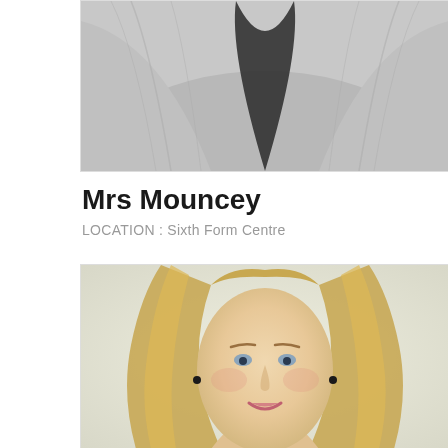[Figure (photo): Cropped torso photo of a person wearing a grey cardigan over a dark top, viewed from chest down. Black and white / greyscale tones.]
Mrs Mouncey
LOCATION : Sixth Form Centre
[Figure (photo): Portrait photo of a smiling woman with long blonde highlighted hair, blue eyes, pink lipstick, against a light cream/off-white background.]